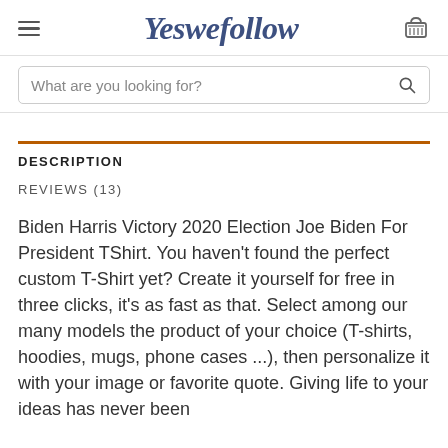Yeswefollow
What are you looking for?
DESCRIPTION
REVIEWS (13)
Biden Harris Victory 2020 Election Joe Biden For President TShirt. You haven't found the perfect custom T-Shirt yet? Create it yourself for free in three clicks, it's as fast as that. Select among our many models the product of your choice (T-shirts, hoodies, mugs, phone cases ...), then personalize it with your image or favorite quote. Giving life to your ideas has never been